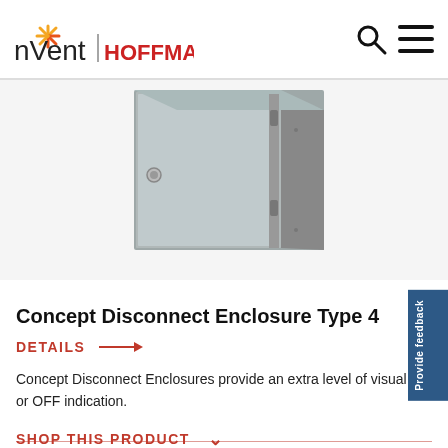nvent HOFFMAN
[Figure (photo): Gray metal Concept Disconnect Enclosure Type 4 product photo, showing a rectangular steel enclosure with a door and latch, viewed at a slight angle.]
Concept Disconnect Enclosure Type 4
DETAILS →
Concept Disconnect Enclosures provide an extra level of visual ON or OFF indication.
SHOP THIS PRODUCT ∨